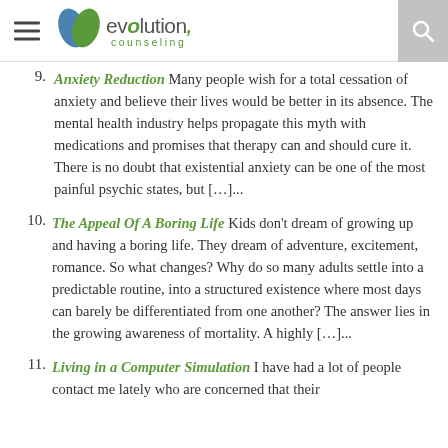evolution counseling
9. Anxiety Reduction Many people wish for a total cessation of anxiety and believe their lives would be better in its absence. The mental health industry helps propagate this myth with medications and promises that therapy can and should cure it. There is no doubt that existential anxiety can be one of the most painful psychic states, but […]...
10. The Appeal Of A Boring Life Kids don't dream of growing up and having a boring life. They dream of adventure, excitement, romance. So what changes? Why do so many adults settle into a predictable routine, into a structured existence where most days can barely be differentiated from one another? The answer lies in the growing awareness of mortality. A highly […]...
11. Living in a Computer Simulation I have had a lot of people contact me lately who are concerned that their